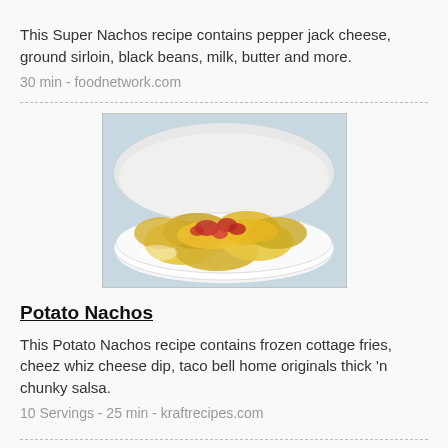This Super Nachos recipe contains pepper jack cheese, ground sirloin, black beans, milk, butter and more.
30 min - foodnetwork.com
[Figure (photo): Photo of Potato Nachos: potato chips topped with melted cheese and chunky salsa on a white plate]
Potato Nachos
This Potato Nachos recipe contains frozen cottage fries, cheez whiz cheese dip, taco bell home originals thick 'n chunky salsa.
10 Servings - 25 min - kraftrecipes.com